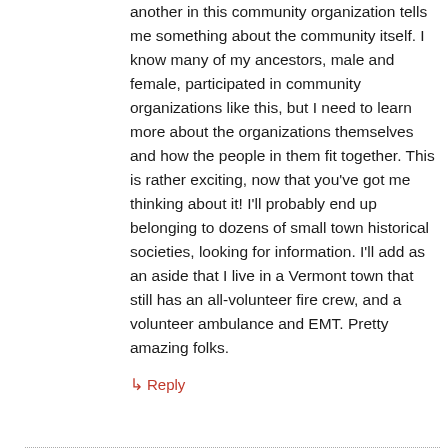another in this community organization tells me something about the community itself. I know many of my ancestors, male and female, participated in community organizations like this, but I need to learn more about the organizations themselves and how the people in them fit together. This is rather exciting, now that you've got me thinking about it! I'll probably end up belonging to dozens of small town historical societies, looking for information. I'll add as an aside that I live in a Vermont town that still has an all-volunteer fire crew, and a volunteer ambulance and EMT. Pretty amazing folks.
↳ Reply